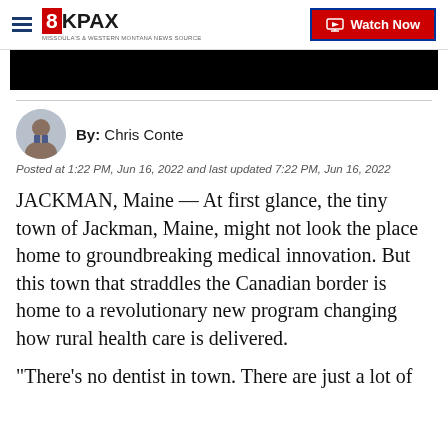8KPAX | Watch Now
[Figure (photo): Black image banner/video thumbnail area]
By: Chris Conte
Posted at 1:22 PM, Jun 16, 2022 and last updated 7:22 PM, Jun 16, 2022
JACKMAN, Maine — At first glance, the tiny town of Jackman, Maine, might not look the place home to groundbreaking medical innovation. But this town that straddles the Canadian border is home to a revolutionary new program changing how rural health care is delivered.
"There's no dentist in town. There are just a lot of